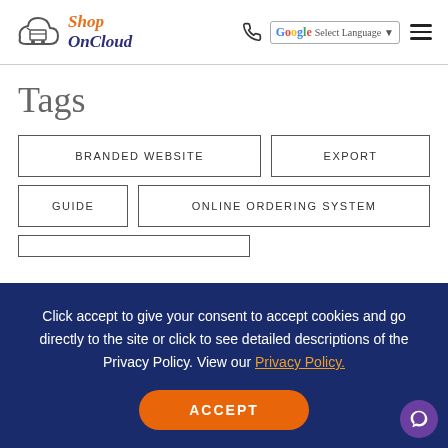Shop On Cloud — Select Language navigation header
Tags
BRANDED WEBSITE
EXPORT
GUIDE
ONLINE ORDERING SYSTEM
Click accept to give your consent to accept cookies and go directly to the site or click to see detailed descriptions of the Privacy Policy. View our Privacy Policy.
ACCEPT